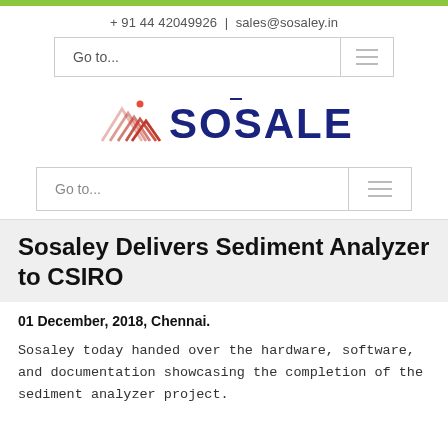+ 91 44 42049926 | sales@sosaley.in
[Figure (logo): Sosaley company logo with stylized mountain/chevron graphic in orange/red and SOSALEY text in dark blue]
Sosaley Delivers Sediment Analyzer to CSIRO
01 December, 2018, Chennai.
Sosaley today handed over the hardware, software, and documentation showcasing the completion of the sediment analyzer project.